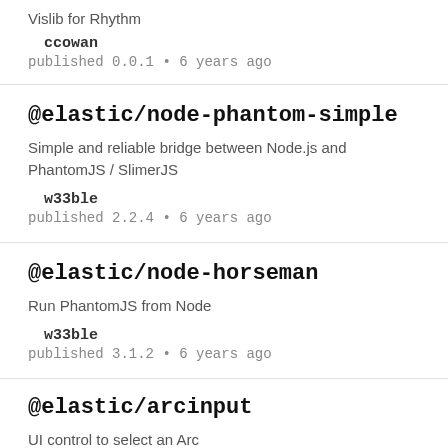Vislib for Rhythm
ccowan
published 0.0.1 • 6 years ago
@elastic/node-phantom-simple
Simple and reliable bridge between Node.js and PhantomJS / SlimerJS
w33ble
published 2.2.4 • 6 years ago
@elastic/node-horseman
Run PhantomJS from Node
w33ble
published 3.1.2 • 6 years ago
@elastic/arcinput
UI control to select an Arc